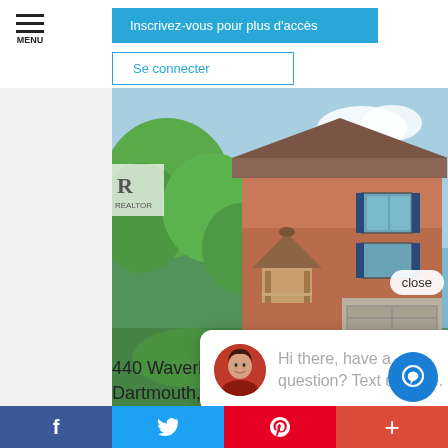CYR, CD
Inscrivez-vous pour plus d'accès
Se connecter
[Figure (photo): Exterior photo of a two-story brick house with green trees, gazebo and garage]
close
Hi there, have a question? Text us here.
440 Waverley Road
Dartmouth, Nova Scotia